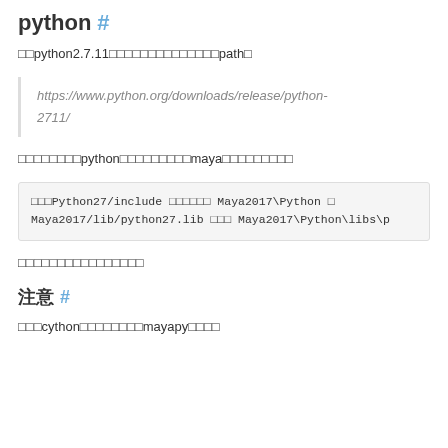python #
□□python2.7.11□□□□□□□□□□□□□□path□
https://www.python.org/downloads/release/python-2711/
□□□□□□□□python□□□□□□□□□maya□□□□□□□□□
□□□Python27/include □□□□□□ Maya2017\Python □ Maya2017/lib/python27.lib □□□ Maya2017\Python\libs\p
□□□□□□□□□□□□□□□□
注意 #
□□□cython□□□□□□□□mayapy□□□□